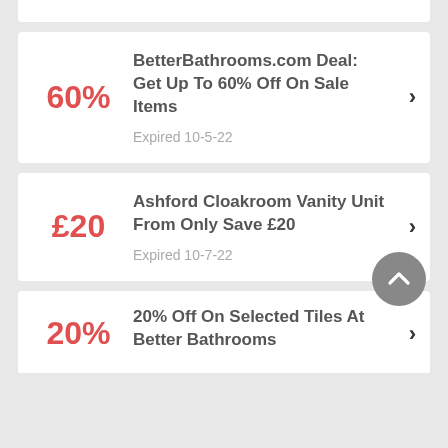BetterBathrooms.com Deal: Get Up To 60% Off On Sale Items — Expired 10-5-22
Ashford Cloakroom Vanity Unit From Only Save £20 — Expired 10-7-22
20% Off On Selected Tiles At Better Bathrooms